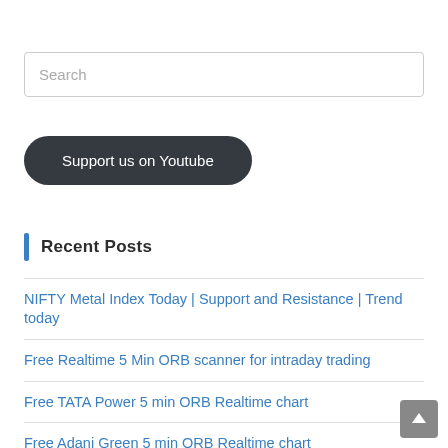Search
Support us on Youtube
Recent Posts
NIFTY Metal Index Today | Support and Resistance | Trend today
Free Realtime 5 Min ORB scanner for intraday trading
Free TATA Power 5 min ORB Realtime chart
Free Adani Green 5 min ORB Realtime chart
Free GAIL 5 min ORB Realtime chart